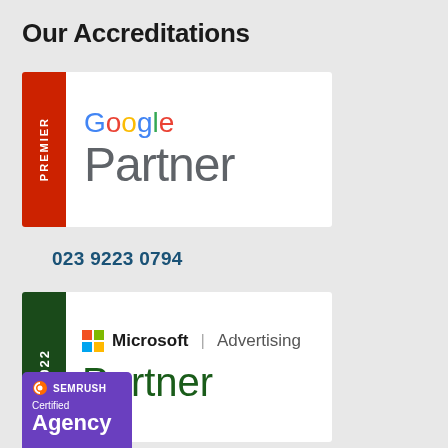Our Accreditations
[Figure (logo): Google Premier Partner badge — red vertical tab on left with 'PREMIER' text rotated, white background with Google wordmark in multicolor and 'Partner' in gray]
023 9223 0794
[Figure (logo): Microsoft Advertising Partner 2022 badge — dark green vertical tab on left with '2022' text rotated, white background with Microsoft logo, 'Microsoft | Advertising' text, and 'Partner' in dark green]
[Figure (logo): SEMrush Certified Agency Partner badge — purple background with SEMrush logo, 'Certified' text, and 'Agency' in large white text, partially cut off]